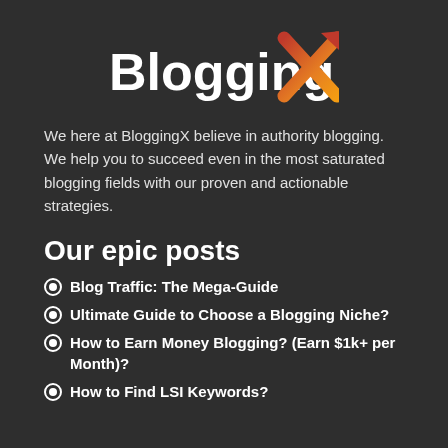[Figure (logo): BloggingX logo — the word 'Blogging' in bold white text followed by a stylized X in red-orange gradient with an upward arrow, on a dark background]
We here at BloggingX believe in authority blogging. We help you to succeed even in the most saturated blogging fields with our proven and actionable strategies.
Our epic posts
Blog Traffic: The Mega-Guide
Ultimate Guide to Choose a Blogging Niche?
How to Earn Money Blogging? (Earn $1k+ per Month)?
How to Find LSI Keywords?